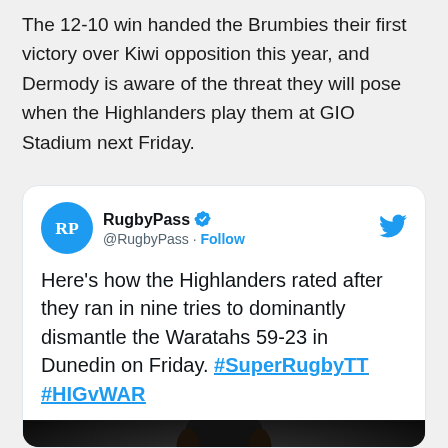The 12-10 win handed the Brumbies their first victory over Kiwi opposition this year, and Dermody is aware of the threat they will pose when the Highlanders play them at GIO Stadium next Friday.
[Figure (screenshot): Embedded tweet from @RugbyPass with verified badge and Follow button. Tweet text: Here's how the Highlanders rated after they ran in nine tries to dominantly dismantle the Waratahs 59-23 in Dunedin on Friday. #SuperRugbyTT #HIGvWAR. Below the text is a partial image of a rugby player.]